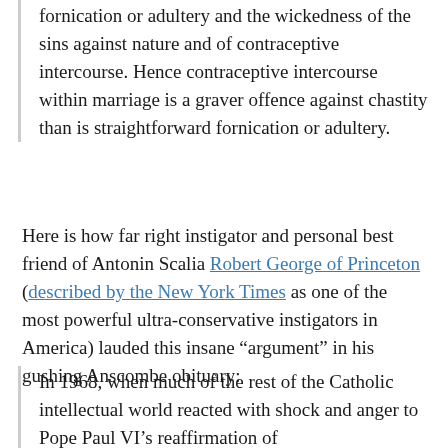fornication or adultery and the wickedness of the sins against nature and of contraceptive intercourse. Hence contraceptive intercourse within marriage is a graver offence against chastity than is straightforward fornication or adultery.
Here is how far right instigator and personal best friend of Antonin Scalia Robert George of Princeton (described by the New York Times as one of the most powerful ultra-conservative instigators in America) lauded this insane “argument” in his gushing Anscombe obituary:
In 1968, when much of the rest of the Catholic intellectual world reacted with shock and anger to Pope Paul VI’s reaffirmation of